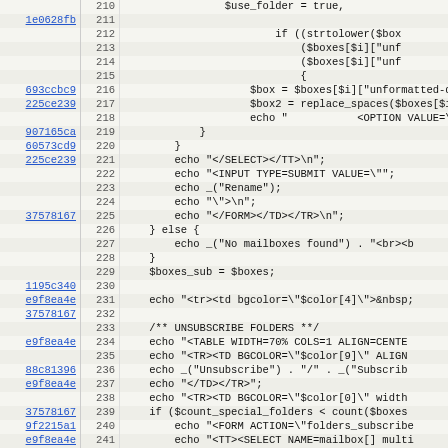[Figure (screenshot): Source code viewer showing PHP code lines 210-242 with commit hashes linked in the left column, line numbers in the middle, and code content on the right.]